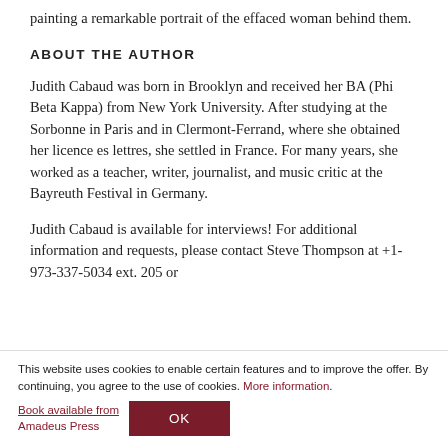painting a remarkable portrait of the effaced woman behind them.
ABOUT THE AUTHOR
Judith Cabaud was born in Brooklyn and received her BA (Phi Beta Kappa) from New York University. After studying at the Sorbonne in Paris and in Clermont-Ferrand, where she obtained her licence es lettres, she settled in France. For many years, she worked as a teacher, writer, journalist, and music critic at the Bayreuth Festival in Germany.
Judith Cabaud is available for interviews! For additional information and requests, please contact Steve Thompson at +1-973-337-5034 ext. 205 or
This website uses cookies to enable certain features and to improve the offer. By continuing, you agree to the use of cookies. More information.
Book available from
Amadeus Press